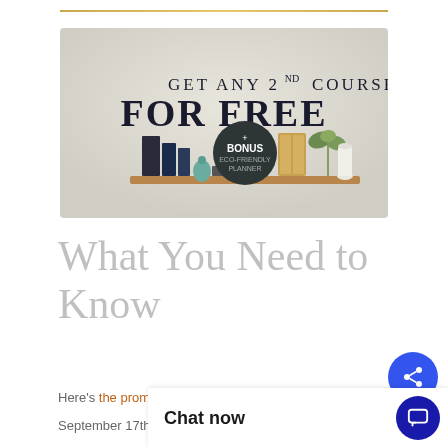[Figure (illustration): Promotional banner with light gray background and shelf with books, planner, plant and clock. Text reads 'GET ANY 2ND COURSE FOR FREE' with a dark circular badge saying '+ BONUS ECO-FRIENDLY PLANNER']
What You Need to Know
Here's the promoti... [the promotional details will...
September 17th, ...